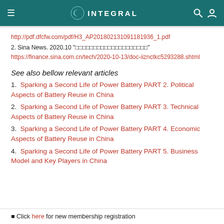≡  INTEGRAL  🔍 👤
http://pdf.dfcfw.com/pdf/H3_AP201802131091181936_1.pdf
2. Sina News. 2020.10 "□□□□□□□□□□□□□□□□□□□□"
https://finance.sina.com.cn/tech/2020-10-13/doc-iiznctkc5293288.shtml
See also bellow relevant articles
1.  Sparking a Second Life of Power Battery PART 2. Political Aspects of Battery Reuse in China
2.  Sparking a Second Life of Power Battery PART 3. Technical Aspects of Battery Reuse in China
3.  Sparking a Second Life of Power Battery PART 4. Economic Aspects of Battery Reuse in China
4.  Sparking a Second Life of Power Battery PART 5. Business Model and Key Players in China
■ Click here for new membership registration